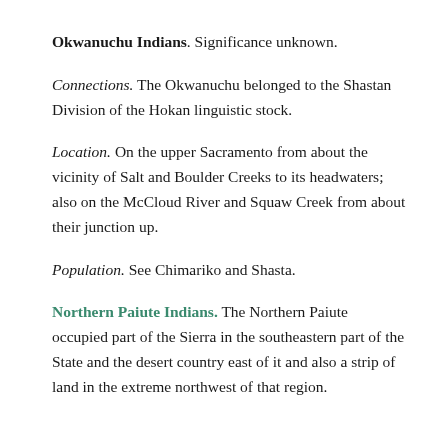Okwanuchu Indians. Significance unknown.
Connections. The Okwanuchu belonged to the Shastan Division of the Hokan linguistic stock.
Location. On the upper Sacramento from about the vicinity of Salt and Boulder Creeks to its headwaters; also on the McCloud River and Squaw Creek from about their junction up.
Population. See Chimariko and Shasta.
Northern Paiute Indians. The Northern Paiute occupied part of the Sierra in the southeastern part of the State and the desert country east of it and also a strip of land in the extreme northwest of that region.